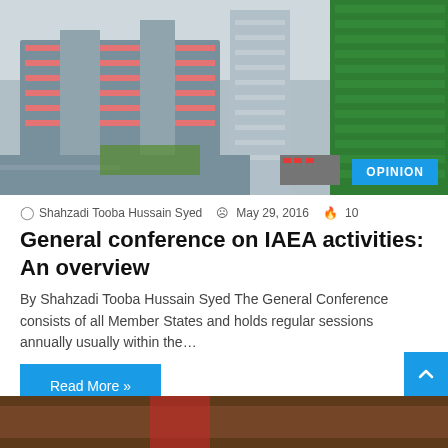[Figure (photo): Aerial view of modern buildings complex, likely the IAEA headquarters in Vienna, with curved and rectangular structures. A blue 'OPINION' badge is overlaid at the bottom right.]
Shahzadi Tooba Hussain Syed  May 29, 2016  10
General conference on IAEA activities: An overview
By Shahzadi Tooba Hussain Syed The General Conference consists of all Member States and holds regular sessions annually usually within the…
Read More »
[Figure (photo): Partial bottom image, dark brownish tones, appears to show a person or interior scene, cropped at the page bottom.]